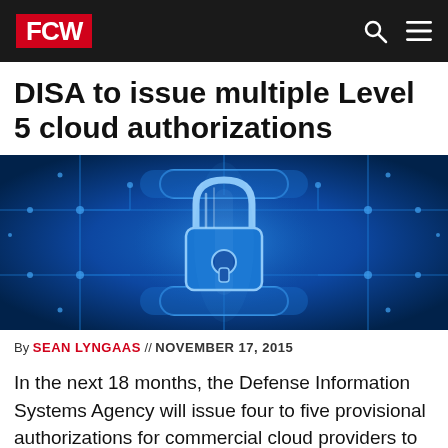FCW
DISA to issue multiple Level 5 cloud authorizations
[Figure (illustration): Blue digital security illustration featuring a glowing padlock on a circuit board background with blue neon lights and network dots]
By SEAN LYNGAAS // NOVEMBER 17, 2015
In the next 18 months, the Defense Information Systems Agency will issue four to five provisional authorizations for commercial cloud providers to